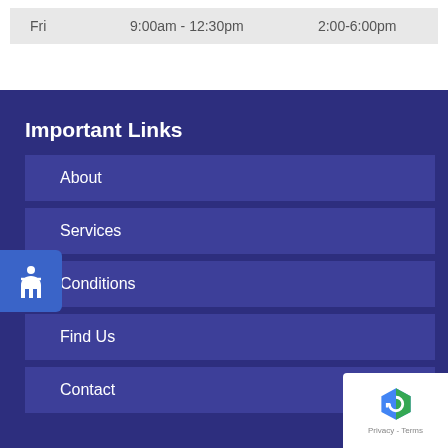| Fri | 9:00am - 12:30pm | 2:00-6:00pm |
Important Links
About
Services
Conditions
Find Us
Contact